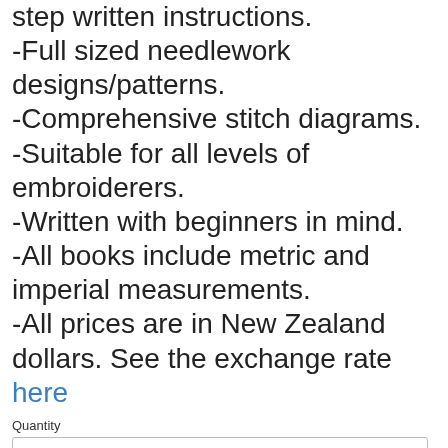step written instructions.
-Full sized needlework designs/patterns.
-Comprehensive stitch diagrams.
-Suitable for all levels of embroiderers.
-Written with beginners in mind.
-All books include metric and imperial measurements.
-All prices are in New Zealand dollars. See the exchange rate here
Quantity
1